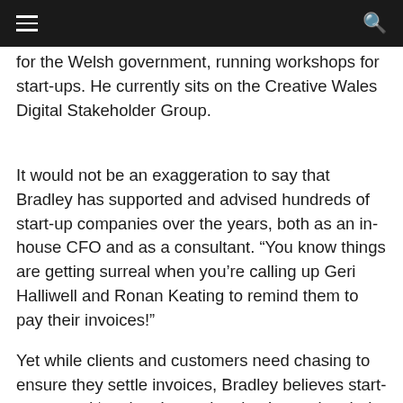≡  🔍
...to growth and ran infrastructure. He also worked for the Welsh government, running workshops for start-ups. He currently sits on the Creative Wales Digital Stakeholder Group.
It would not be an exaggeration to say that Bradley has supported and advised hundreds of start-up companies over the years, both as an in-house CFO and as a consultant. “You know things are getting surreal when you’re calling up Geri Halliwell and Ronan Keating to remind them to pay their invoices!”
Yet while clients and customers need chasing to ensure they settle invoices, Bradley believes start-ups spend ‘too long’ ensuring they’re paying their bills on time when it isn’t sustainable.
“It really annoys me,” he admits. “Cash Management...